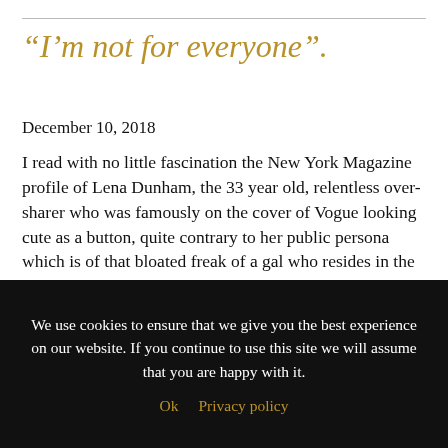“I’m not for everyone”.
December 10, 2018
I read with no little fascination the New York Magazine profile of Lena Dunham, the 33 year old, relentless over-sharer who was famously on the cover of Vogue looking cute as a button, quite contrary to her public persona which is of that bloated freak of a gal who resides in the heart of all of us from the age of 16 on. Dunham has annoyed me ever since Girls, and as she says, she’s “not …
Read more
It’s Not Us, It’s You
We use cookies to ensure that we give you the best experience on our website. If you continue to use this site we will assume that you are happy with it.
Ok   Privacy policy